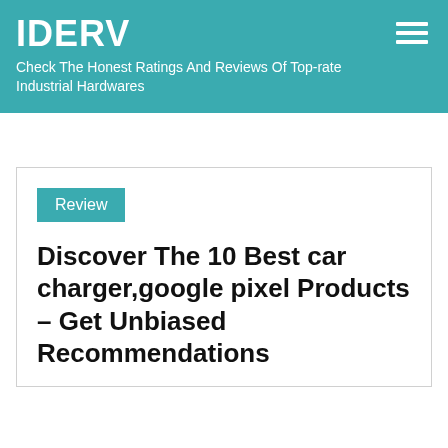IDERV
Check The Honest Ratings And Reviews Of Top-rate Industrial Hardwares
Review
Discover The 10 Best car charger,google pixel Products – Get Unbiased Recommendations